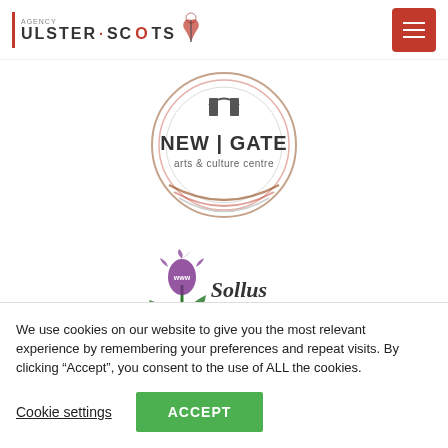Ulster Scots Agency - Navigation header
[Figure (logo): New Gate Arts & Culture Centre logo - circular design with text 'NEW | GATE arts & culture centre']
[Figure (logo): Sollus Highland Dancers logo - thistle illustration with script text 'Sollus Highland Dancers']
We use cookies on our website to give you the most relevant experience by remembering your preferences and repeat visits. By clicking “Accept”, you consent to the use of ALL the cookies.
Cookie settings | ACCEPT